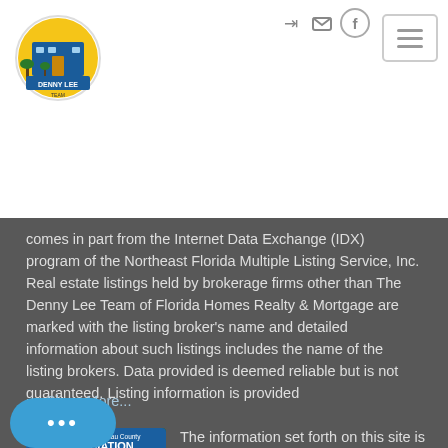[Figure (logo): Denny Lee Team logo - circular badge with building icon and text]
[Figure (logo): Hamburger menu icon button with three horizontal lines]
[Figure (logo): Top right icons: login arrow, envelope/email, Facebook circle]
comes in part from the Internet Data Exchange (IDX) program of the Northeast Florida Multiple Listing Service, Inc. Real estate listings held by brokerage firms other than The Denny Lee Team of Florida Homes Realty & Mortgage are marked with the listing broker's name and detailed information about such listings includes the name of the listing brokers. Data provided is deemed reliable but is not guaranteed. Listing information is provided
Show More...
[Figure (logo): Amelia Island Nassau County Association of Realtors logo - green and blue badge]
The information set forth on this site is information which we consider reliable, but because it has been supplied by third parties to our franchisees (who in
[Figure (other): Chat bubble button with three dots]